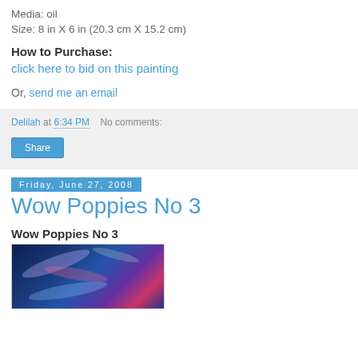Media: oil
Size: 8 in X 6 in (20.3 cm X 15.2 cm)
How to Purchase:
click here to bid on this painting
Or, send me an email
Delilah at 6:34 PM    No comments:
Share
Friday, June 27, 2008
Wow Poppies No 3
Wow Poppies No 3
[Figure (photo): Painting of poppies with dark blue/purple background and swirling colorful brushstrokes]